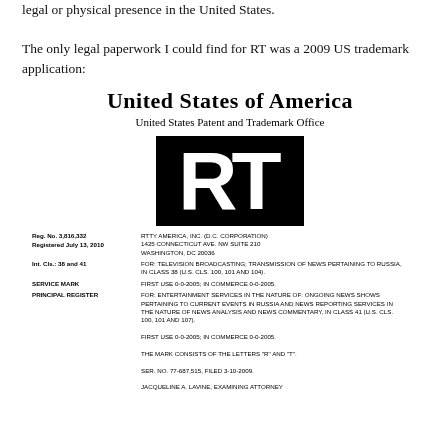legal or physical presence in the United States.

The only legal paperwork I could find for RT was a 2009 US trademark application:
[Figure (illustration): US Patent and Trademark Office certificate image showing 'United States of America, United States Patent and Trademark Office' in blackletter font, the RT logo (large black block letters R and T), and trademark registration details: Reg. No. 3,816,332, Registered July 13, 2010, Int. Cls.: 38 and 41, Service Mark, Principal Register, for RTTY AMERICA, INC. (D.C. Corporation), television broadcasting and news services.]